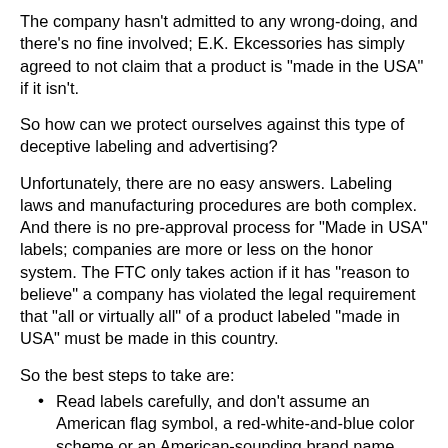The company hasn't admitted to any wrong-doing, and there's no fine involved; E.K. Ekcessories has simply agreed to not claim that a product is "made in the USA" if it isn't.
So how can we protect ourselves against this type of deceptive labeling and advertising?
Unfortunately, there are no easy answers. Labeling laws and manufacturing procedures are both complex. And there is no pre-approval process for "Made in USA" labels; companies are more or less on the honor system. The FTC only takes action if it has "reason to believe" a company has violated the legal requirement that "all or virtually all" of a product labeled "made in USA" must be made in this country.
So the best steps to take are:
Read labels carefully, and don't assume an American flag symbol, a red-white-and-blue color scheme or an American-sounding brand name means it was manufactured here. For example, a dishcloth from American Mills may be clearly labeled (in smaller type) as "made in Pakistan."
If you're not sure, contact the manufacturer directly, and ask specific questions.